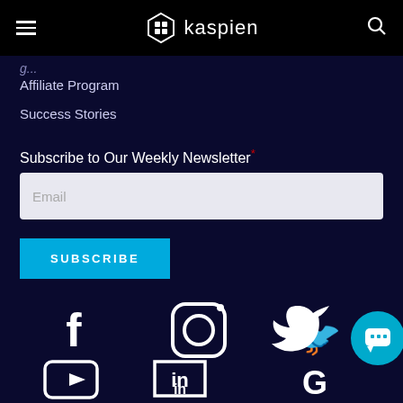kaspien
Affiliate Program
Success Stories
Subscribe to Our Weekly Newsletter*
SUBSCRIBE
[Figure (screenshot): Social media icons row: Facebook, Instagram, Twitter/X, YouTube, LinkedIn, Google]